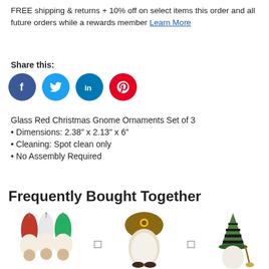FREE shipping & returns + 10% off on select items this order and all future orders while a rewards member Learn More
Share this:
[Figure (infographic): Four social media share buttons: Facebook (blue circle with f), Twitter (light blue circle with bird), LinkedIn (blue circle with in), Pinterest (red circle with P)]
Glass Red Christmas Gnome Ornaments Set of 3
Dimensions: 2.38" x 2.13" x 6"
Cleaning: Spot clean only
No Assembly Required
Frequently Bought Together
[Figure (photo): Three product images of gnome ornaments: (1) Glass Red Christmas Gnome Ornaments set of 3 hanging ornaments in red, white, and green; (2) a fall/harvest gnome figurine with sunflower hat; (3) a Halloween witch gnome figurine with striped green hat and broom. Plus signs between images.]